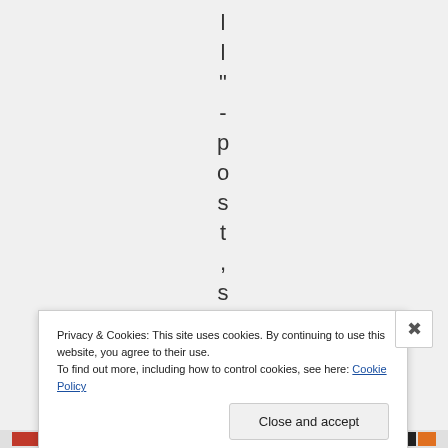[Figure (other): Vertical text characters spelling out 'l l " - post,so' with letters stacked vertically, one character per line, centered horizontally on a light gray background]
Privacy & Cookies: This site uses cookies. By continuing to use this website, you agree to their use.
To find out more, including how to control cookies, see here: Cookie Policy
Close and accept